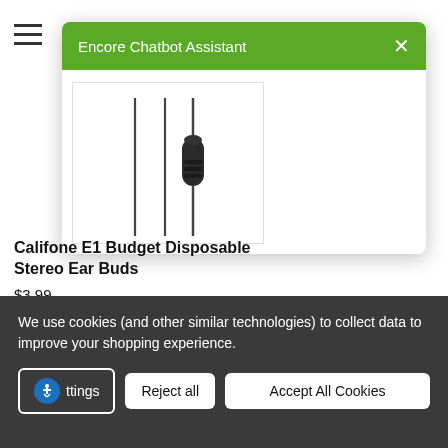[Figure (screenshot): Encore Chatbot Assistant modal overlay with green header showing title and X close button, displayed on a white webpage background with a hamburger menu icon in the top left]
[Figure (photo): Product image of Califone E1 Budget Disposable Stereo Ear Buds showing audio cable with 3.5mm connector against white background]
Califone E1 Budget Disposable Stereo Ear Buds
$3.99
MSRP $4.99
Califone
We use cookies (and other similar technologies) to collect data to improve your shopping experience.
ttings
Reject all
Accept All Cookies